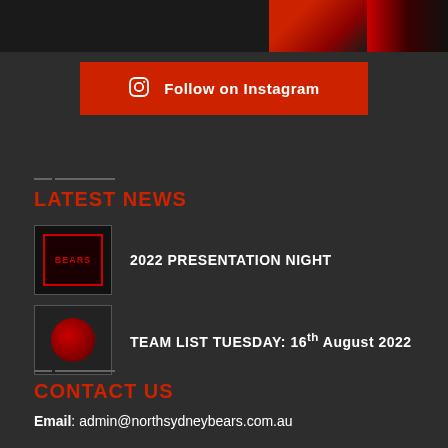[Figure (photo): Three photo thumbnails at top: dark image on left, person in red shirt in middle, red and black image on right]
Follow on Instagram
LATEST NEWS
[Figure (photo): Thumbnail for 2022 Presentation Night news item, dark red background with text]
2022 PRESENTATION NIGHT
[Figure (photo): Thumbnail for Team List Tuesday news item]
TEAM LIST TUESDAY: 16th August 2022
CONTACT US
Email: admin@northsydneybears.com.au